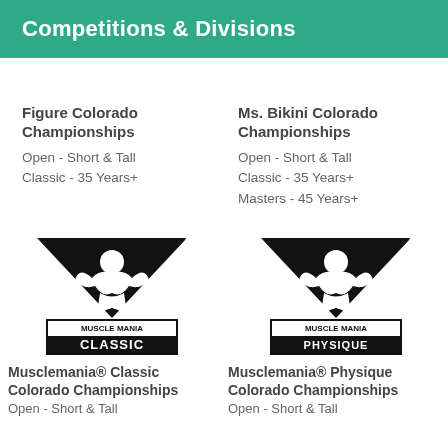Competitions & Divisions
Figure Colorado Championships
Open - Short & Tall
Classic - 35 Years+
Ms. Bikini Colorado Championships
Open - Short & Tall
Classic - 35 Years+
Masters - 45 Years+
[Figure (logo): Musclemania Classic logo — black and white logo with muscleman flexing in V-shape, text MUSCLE MANIA CLASSIC]
Musclemania® Classic Colorado Championships
Open - Short & Tall
[Figure (logo): Musclemania Physique logo — black and white logo with muscleman flexing in V-shape, text MUSCLE MANIA PHYSIQUE]
Musclemania® Physique Colorado Championships
Open - Short & Tall